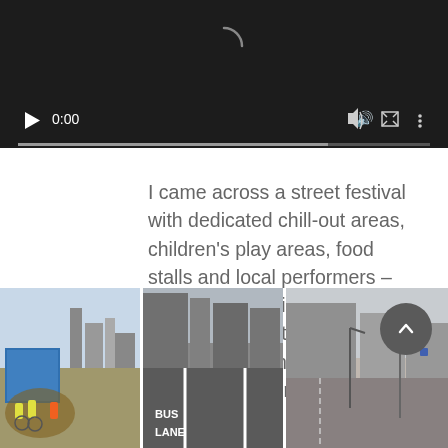[Figure (screenshot): Video player with dark background showing 0:00 timestamp, play button, volume, fullscreen, and menu icons with a progress bar]
I came across a street festival with dedicated chill-out areas, children's play areas, food stalls and local performers – quite the opposite of seeing people rushing through the streets and trying to cross busy junctions in the masses.
[Figure (photo): Three street photos side by side: cyclists near a blue sign with London city skyline, a road with BUS LANE marking, and an empty urban street with lamp posts. A scroll-up button overlays the right side.]